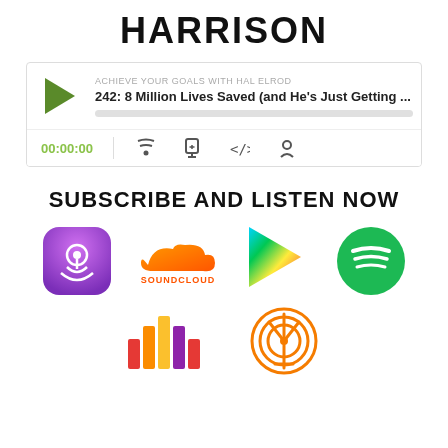HARRISON
[Figure (screenshot): Podcast player widget showing episode: ACHIEVE YOUR GOALS WITH HAL ELROD - 242: 8 Million Lives Saved (and He's Just Getting ... with play button, progress bar, time 00:00:00 and controls]
SUBSCRIBE AND LISTEN NOW
[Figure (logo): Apple Podcasts logo - purple rounded square with white podcast waves icon]
[Figure (logo): SoundCloud logo - orange cloud with sound waves]
[Figure (logo): Google Play logo - colorful play triangle]
[Figure (logo): Spotify logo - green circle with white sound waves]
[Figure (logo): Audioboom/stats logo - colorful bar chart bars]
[Figure (logo): Overcast/podcast antenna logo - orange circle with antenna and radio waves]